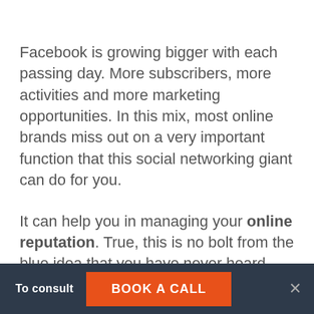Facebook is growing bigger with each passing day. More subscribers, more activities and more marketing opportunities. In this mix, most online brands miss out on a very important function that this social networking giant can do for you.
It can help you in managing your online reputation. True, this is no bolt from the blue idea that you have never heard before! I do not claim credit for being the first one to bring it up.
To consult  BOOK A CALL  ×